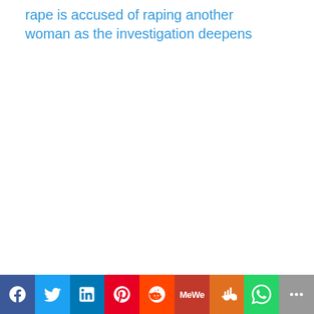rape is accused of raping another woman as the investigation deepens
[Figure (other): Social media sharing bar with buttons for Facebook, Twitter, LinkedIn, Pinterest, Reddit, MeWe, Mix, WhatsApp, and More]